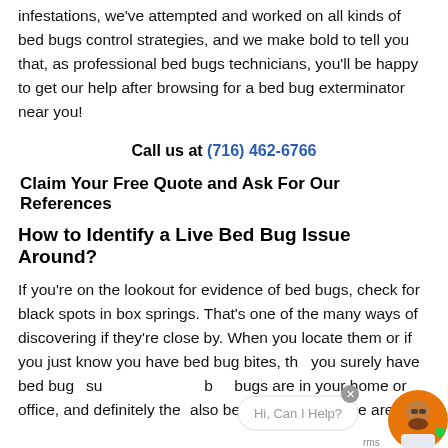infestations, we've attempted and worked on all kinds of bed bugs control strategies, and we make bold to tell you that, as professional bed bugs technicians, you'll be happy to get our help after browsing for a bed bug exterminator near you!
Call us at (716) 462-6766
Claim Your Free Quote and Ask For Our References
How to Identify a Live Bed Bug Issue Around?
If you're on the lookout for evidence of bed bugs, check for black spots in box springs. That's one of the many ways of discovering if they're close by. When you locate them or if you just know you have bed bug bites, th you surely have bed bug su b bugs are in your home or office, and definitely them also bed bugs eggs in the area.
[Figure (other): Chat widget overlay with avatar, close button, and 'Hi, Can I Help?' bubble, plus 'rms' text fragment]